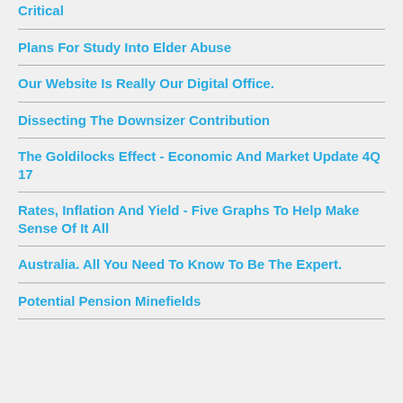Critical
Plans For Study Into Elder Abuse
Our Website Is Really Our Digital Office.
Dissecting The Downsizer Contribution
The Goldilocks Effect - Economic And Market Update 4Q 17
Rates, Inflation And Yield - Five Graphs To Help Make Sense Of It All
Australia. All You Need To Know To Be The Expert.
Potential Pension Minefields